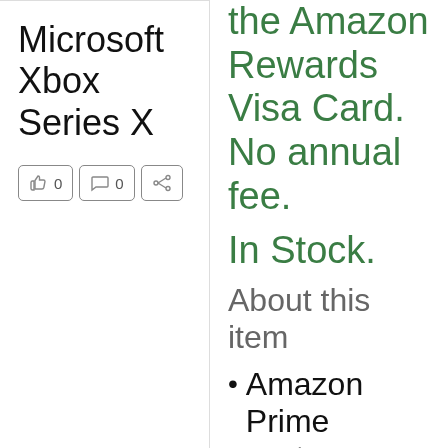Microsoft Xbox Series X
[Figure (other): Social interaction buttons: thumbs-up with count 0, comment with count 0, and share button]
the Amazon Rewards Visa Card. No annual fee.
In Stock.
About this item
Amazon Prime customers will be given